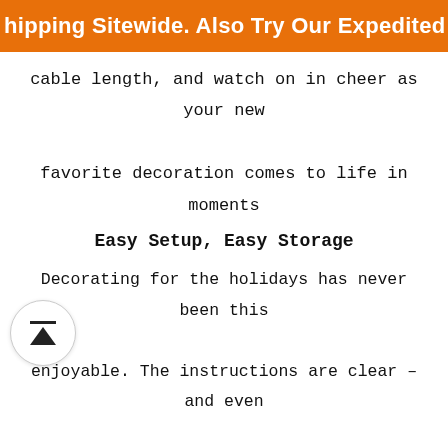hipping Sitewide. Also Try Our Expedited Shipping (E
cable length, and watch on in cheer as your new favorite decoration comes to life in moments
Easy Setup, Easy Storage
Decorating for the holidays has never been this enjoyable. The instructions are clear – and even printed right on the packaging! And better yet, once the holidays are done, simply fold the deflated inflatable and place it back into the high-quality product package and you're all set.
How to Use :
• Remove switch from packaging